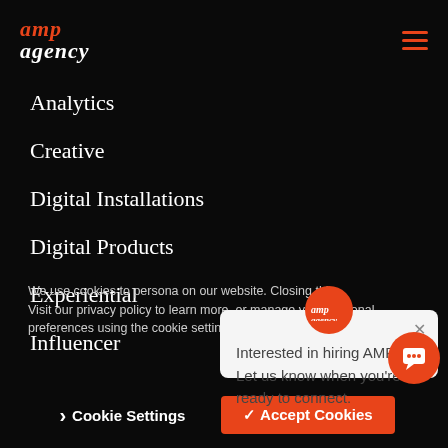[Figure (logo): AMP Agency logo — 'amp' in red italic, 'agency' in white italic]
Analytics
Creative
Digital Installations
Digital Products
Experiential
Influencer
[Figure (screenshot): AMP Agency chat popup: 'Interested in hiring AMP? Let us know when you're ready to connect.' with close X and AMP logo circle at top]
We use cookies to personalize content and ads, to provide social media features and to analyze our traffic. We also share information about your use of our site with our social media, advertising and analytics partners who may combine it with other information on our website. Closing this message means you accept their use. Visit our privacy policy to learn more, or manage your personal preferences using the cookie settings tool. Privacy Policy
› Cookie Settings
✓ Accept Cookies